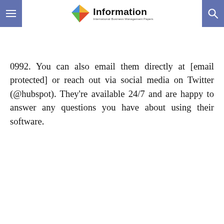Information — International Business Management Papers
While most users find that online support is more than sufficient, some may want a more personal touch. If so, you can always call their customer service hotline at (800) 836-0992. You can also email them directly at [email protected] or reach out via social media on Twitter (@hubspot). They're available 24/7 and are happy to answer any questions you have about using their software.